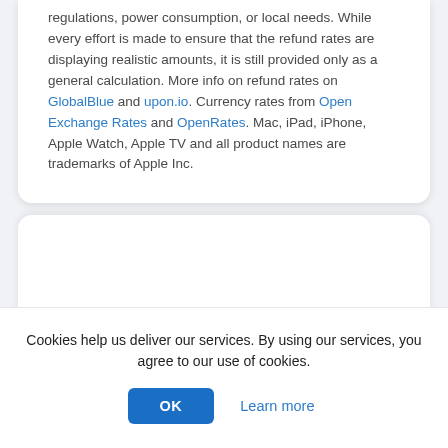regulations, power consumption, or local needs. While every effort is made to ensure that the refund rates are displaying realistic amounts, it is still provided only as a general calculation. More info on refund rates on GlobalBlue and upon.io. Currency rates from Open Exchange Rates and OpenRates. Mac, iPad, iPhone, Apple Watch, Apple TV and all product names are trademarks of Apple Inc.
Cookies help us deliver our services. By using our services, you agree to our use of cookies.